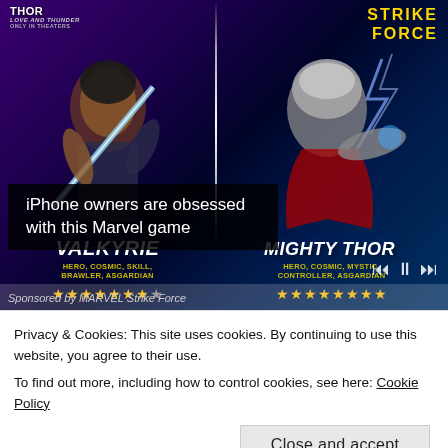[Figure (screenshot): Marvel Strike Force mobile game advertisement showing Valkyrie and Mighty Thor characters with star ratings. Valkyrie labeled HERO, COSMIC, SKILL, BRAWLER, ASGARDIAN. Mighty Thor labeled HERO, COSMIC, MYSTIC, CONTROLLER, ASGARDIAN. Both have star ratings. Text overlay reads 'iPhone owners are obsessed with this Marvel game'. Sponsored by MARVEL Strike Force.]
Privacy & Cookies: This site uses cookies. By continuing to use this website, you agree to their use.
To find out more, including how to control cookies, see here: Cookie Policy
Close and accept
homeschooling history, homeschooling history ideas, relaxed